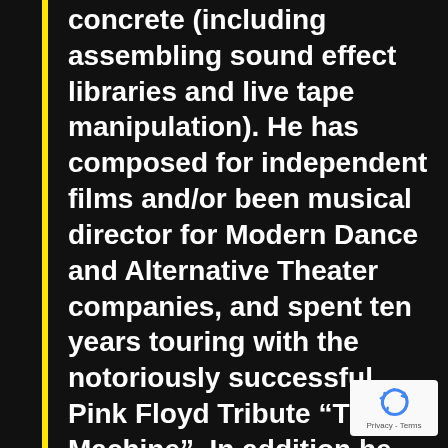concrete (including assembling sound effect libraries and live tape manipulation). He has composed for independent films and/or been musical director for Modern Dance and Alternative Theater companies, and spent ten years touring with the notoriously successful Pink Floyd Tribute "The Machine". In addition he occasionally performs solo. He and his wife Nita Rae own a private recording company, "Pdog Records" located in NY...
[Figure (logo): reCAPTCHA badge with recycling-arrow icon and 'Privacy - Terms' text]